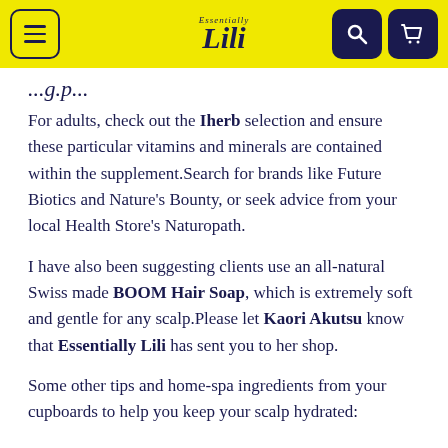Essentially Lili navigation bar
For adults, check out the Iherb selection and ensure these particular vitamins and minerals are contained within the supplement.Search for brands like Future Biotics and Nature's Bounty, or seek advice from your local Health Store's Naturopath.
I have also been suggesting clients use an all-natural Swiss made BOOM Hair Soap, which is extremely soft and gentle for any scalp.Please let Kaori Akutsu know that Essentially Lili has sent you to her shop.
Some other tips and home-spa ingredients from your cupboards to help you keep your scalp hydrated: